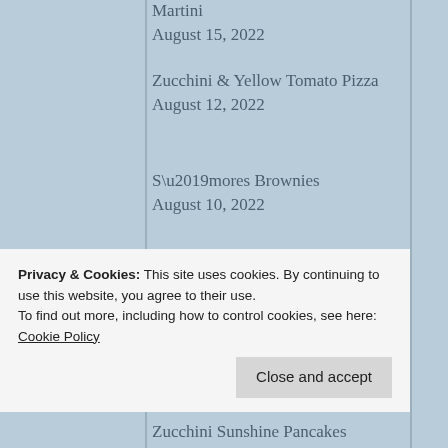Martini
August 15, 2022
Zucchini & Yellow Tomato Pizza
August 12, 2022
S’mores Brownies
August 10, 2022
Garden Veggie Spiral Quiche
August 5, 2022
PB&...
Privacy & Cookies: This site uses cookies. By continuing to use this website, you agree to their use.
To find out more, including how to control cookies, see here: Cookie Policy
Close and accept
Zucchini Sunshine Pancakes